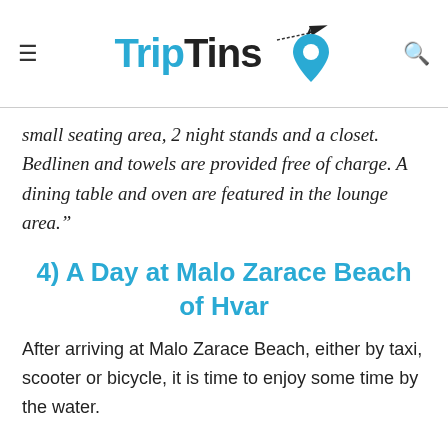TripTins
small seating area, 2 night stands and a closet. Bedlinen and towels are provided free of charge. A dining table and oven are featured in the lounge area."
4) A Day at Malo Zarace Beach of Hvar
After arriving at Malo Zarace Beach, either by taxi, scooter or bicycle, it is time to enjoy some time by the water.